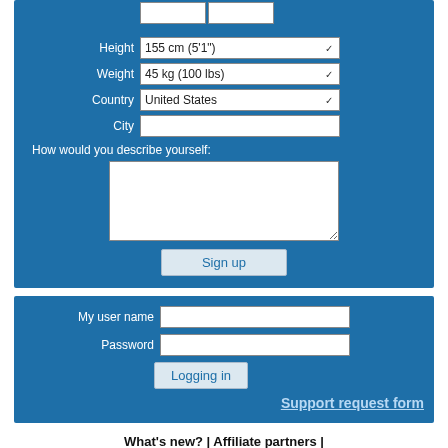[Figure (screenshot): Web form panel (blue background) showing Height dropdown set to '155 cm (5'1")', Weight dropdown set to '45 kg (100 lbs)', Country dropdown set to 'United States', City text input (empty), 'How would you describe yourself:' label with empty textarea, and a 'Sign up' button.]
[Figure (screenshot): Login panel (blue background) with 'My user name' and 'Password' fields, a 'Logging in' button, and a 'Support request form' underlined link.]
What's new? | Affiliate partners | Cookies on the internet | Privacy policy page | Submit url
[Figure (photo): Two partially visible photos of people at the bottom of the page.]